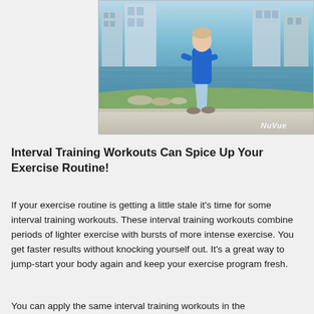[Figure (photo): A woman in a blue top and light blue cropped pants walking along a waterfront path with buildings and water in the background. NuVue watermark in bottom right.]
Interval Training Workouts Can Spice Up Your Exercise Routine!
If your exercise routine is getting a little stale it's time for some interval training workouts. These interval training workouts combine periods of lighter exercise with bursts of more intense exercise. You get faster results without knocking yourself out. It's a great way to jump-start your body again and keep your exercise program fresh.
You can apply the same interval training workouts in the